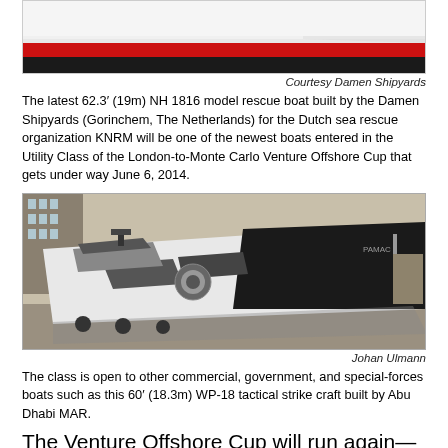[Figure (photo): Top portion of a red and black hulled rescue boat, showing the waterline stripe.]
Courtesy Damen Shipyards
The latest 62.3′ (19m) NH 1816 model rescue boat built by the Damen Shipyards (Gorinchem, The Netherlands) for the Dutch sea rescue organization KNRM will be one of the newest boats entered in the Utility Class of the London-to-Monte Carlo Venture Offshore Cup that gets under way June 6, 2014.
[Figure (photo): A 60′ (18.3m) WP-18 tactical strike craft built by Abu Dhabi MAR, shown dockside with a dramatic black and white angular hull design.]
Johan Ulmann
The class is open to other commercial, government, and special-forces boats such as this 60′ (18.3m) WP-18 tactical strike craft built by Abu Dhabi MAR.
The Venture Offshore Cup will run again—after 42 years